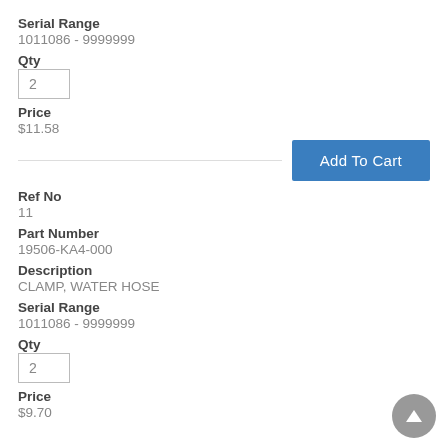Serial Range
1011086 - 9999999
Qty
2
Price
$11.58
Add To Cart
Ref No
11
Part Number
19506-KA4-000
Description
CLAMP, WATER HOSE
Serial Range
1011086 - 9999999
Qty
2
Price
$9.70